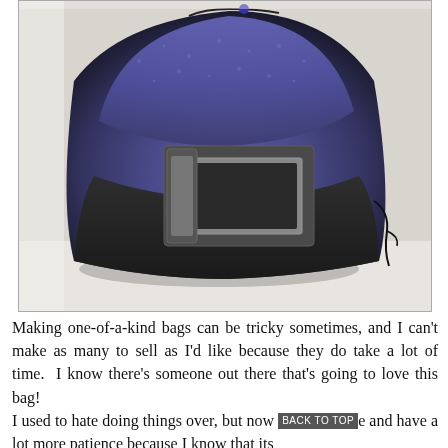[Figure (photo): A crocheted/felted handbag with a gradient from dark charcoal grey at the bottom to purple/blue at the top. It features a large rectangular silver/gunmetal metal buckle hardware on the front and a black drawstring cord along the side.]
Making one-of-a-kind bags can be tricky sometimes, and I can't make as many to sell as I'd like because they do take a lot of time. I know there's someone out there that's going to love this bag!
I used to hate doing things over, but now and have a lot more patience because I know that its